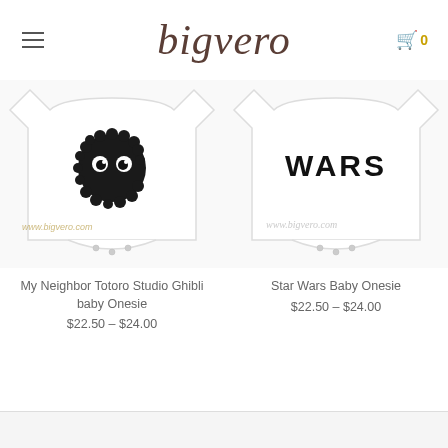bigvero
[Figure (photo): White baby onesie with black fuzzy ball character (soot sprite from Studio Ghibli) with googly eyes, watermark www.bigvero.com]
[Figure (photo): White baby onesie with STAR WARS text in black bold letters, watermark www.bigvero.com]
My Neighbor Totoro Studio Ghibli baby Onesie
$22.50 – $24.00
Star Wars Baby Onesie
$22.50 – $24.00